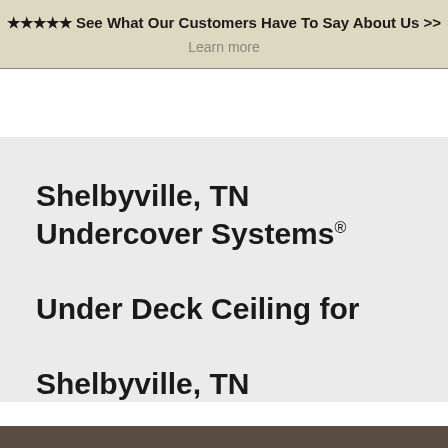★★★★★ See What Our Customers Have To Say About Us >>
Learn more
Shelbyville, TN Undercover Systems® Under Deck Ceiling for Shelbyville, TN
[Figure (photo): Bottom portion of a photo visible at the very bottom of the page]